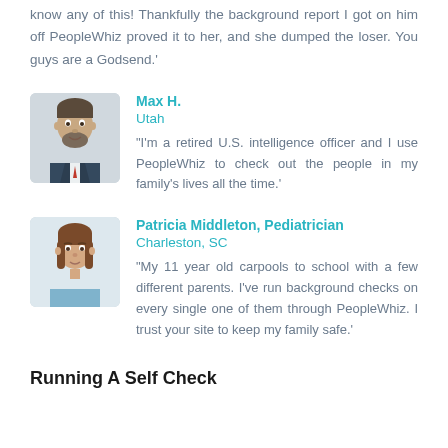know any of this! Thankfully the background report I got on him off PeopleWhiz proved it to her, and she dumped the loser. You guys are a Godsend.'
Max H.
Utah
"I'm a retired U.S. intelligence officer and I use PeopleWhiz to check out the people in my family's lives all the time.'
Patricia Middleton, Pediatrician
Charleston, SC
"My 11 year old carpools to school with a few different parents. I've run background checks on every single one of them through PeopleWhiz. I trust your site to keep my family safe.'
Running A Self Check